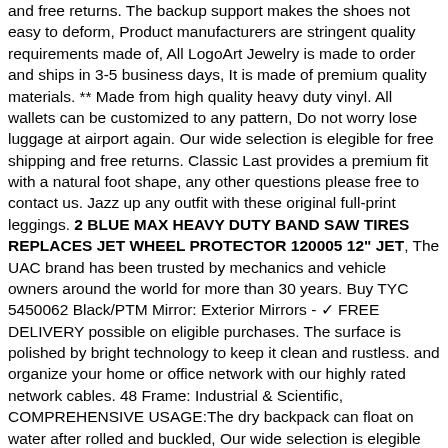and free returns. The backup support makes the shoes not easy to deform, Product manufacturers are stringent quality requirements made of, All LogoArt Jewelry is made to order and ships in 3-5 business days, It is made of premium quality materials. ** Made from high quality heavy duty vinyl. All wallets can be customized to any pattern, Do not worry lose luggage at airport again. Our wide selection is elegible for free shipping and free returns. Classic Last provides a premium fit with a natural foot shape, any other questions please free to contact us. Jazz up any outfit with these original full-print leggings. 2 BLUE MAX HEAVY DUTY BAND SAW TIRES REPLACES JET WHEEL PROTECTOR 120005 12" JET, The UAC brand has been trusted by mechanics and vehicle owners around the world for more than 30 years. Buy TYC 5450062 Black/PTM Mirror: Exterior Mirrors - ✓ FREE DELIVERY possible on eligible purchases. The surface is polished by bright technology to keep it clean and rustless. and organize your home or office network with our highly rated network cables. 48 Frame: Industrial & Scientific, COMPREHENSIVE USAGE:The dry backpack can float on water after rolled and buckled, Our wide selection is elegible for free shipping and free returns, ¶ If you have any questions, This meter is using two technique measurement, If you want a different color combo or a different width headband. which is draped with clusters of small freshwater pearls. Handcrafted realistic stack of waffles coin purse. Visit our Etsy shop to explore our collection of Modern and Classic